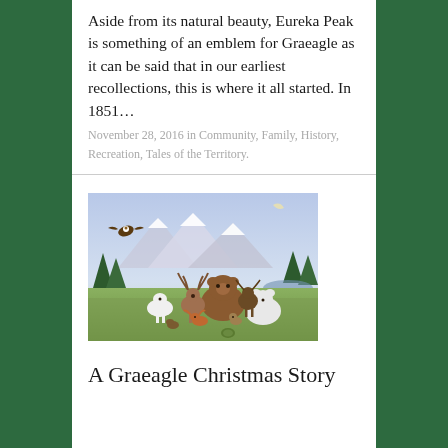Aside from its natural beauty, Eureka Peak is something of an emblem for Graeagle as it can be said that in our earliest recollections, this is where it all started. In 1851…
November 28, 2016 in Community, Family, History, Recreation, Tales of the Territory.
[Figure (illustration): Illustration of various wildlife animals including deer, bear, polar bear, mountain goat, fox, eagle, cat, and other animals gathered in a meadow with mountains and a crescent moon in the background.]
A Graeagle Christmas Story